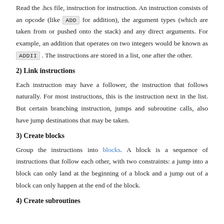Read the .hcs file, instruction for instruction. An instruction consists of an opcode (like ADD for addition), the argument types (which are taken from or pushed onto the stack) and any direct arguments. For example, an addition that operates on two integers would be known as ADDII . The instructions are stored in a list, one after the other.
2) Link instructions
Each instruction may have a follower, the instruction that follows naturally. For most instructions, this is the instruction next in the list. But certain branching instruction, jumps and subroutine calls, also have jump destinations that may be taken.
3) Create blocks
Group the instructions into blocks. A block is a sequence of instructions that follow each other, with two constraints: a jump into a block can only land at the beginning of a block and a jump out of a block can only happen at the end of the block.
4) Create subroutines